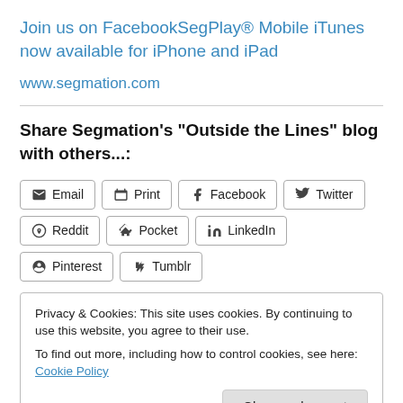Join us on FacebookSegPlay® Mobile iTunes now available for iPhone and iPad
www.segmation.com
Share Segmation's "Outside the Lines" blog with others...:
Email | Print | Facebook | Twitter | Reddit | Pocket | LinkedIn | Pinterest | Tumblr
Privacy & Cookies: This site uses cookies. By continuing to use this website, you agree to their use. To find out more, including how to control cookies, see here: Cookie Policy
Close and accept